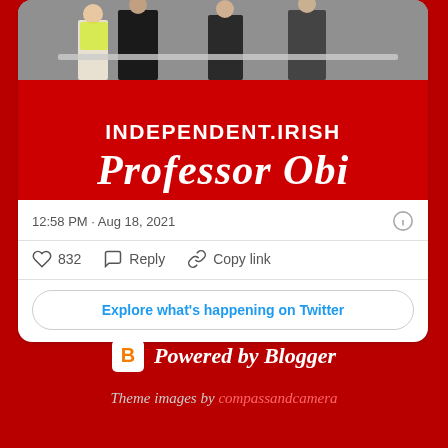[Figure (screenshot): Twitter/social media card embed showing a red promotional image with 'INDEPENDENT.IRISH' and 'Professor Obi' text, with a photo of people at top]
12:58 PM · Aug 18, 2021
832   Reply   Copy link
Explore what's happening on Twitter
Powered by Blogger
Theme images by compassandcamera